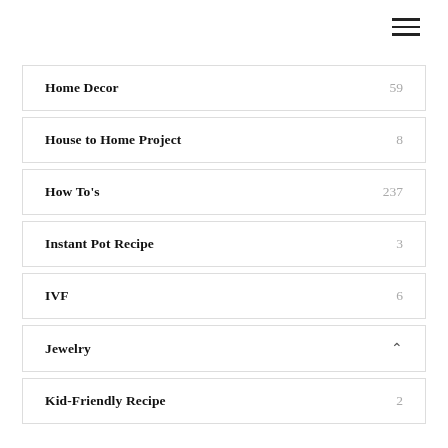Home Decor 59
House to Home Project 8
How To's 237
Instant Pot Recipe 3
IVF 6
Jewelry
Kid-Friendly Recipe 2